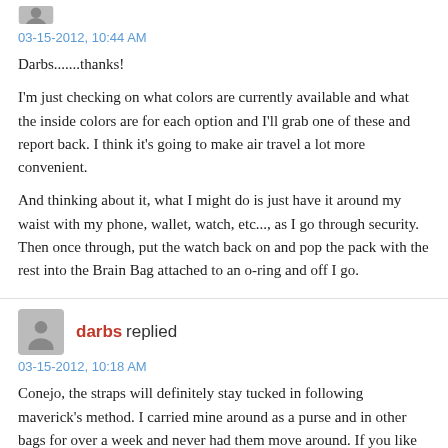[Figure (illustration): Partial gray avatar icon at top]
03-15-2012, 10:44 AM
Darbs.......thanks!

I'm just checking on what colors are currently available and what the inside colors are for each option and I'll grab one of these and report back. I think it's going to make air travel a lot more convenient.

And thinking about it, what I might do is just have it around my waist with my phone, wallet, watch, etc..., as I go through security. Then once through, put the watch back on and pop the pack with the rest into the Brain Bag attached to an o-ring and off I go.
[Figure (illustration): Gray silhouette avatar icon for darbs]
darbs replied
03-15-2012, 10:18 AM
Conejo, the straps will definitely stay tucked in following maverick's method. I carried mine around as a purse and in other bags for over a week and never had them move around. If you like using it as a waist pack, then I would buy one. I love mine!